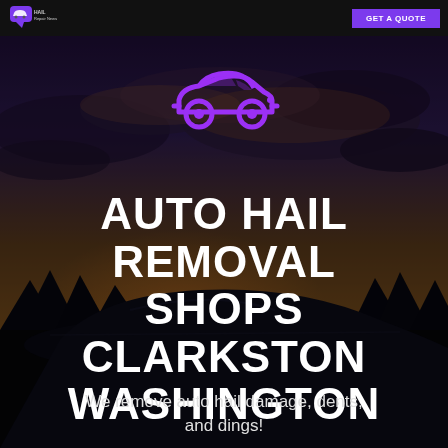[Figure (screenshot): Website header/hero section for an auto hail repair service. Dark navigation bar at top with a logo on the left and a purple button on the right. Background is a dramatic twilight sky with dark clouds and a car silhouette visible in lower portion. A purple cartoon car icon is centered near the top of the hero area.]
AUTO HAIL REMOVAL SHOPS CLARKSTON WASHINGTON
We remove auto hail damage, dents, and dings!